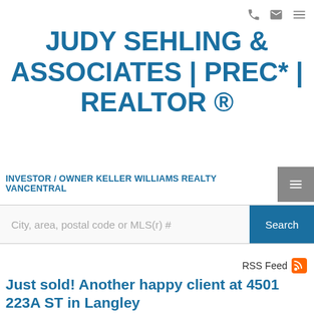JUDY SEHLING & ASSOCIATES | PREC* | REALTOR ®
INVESTOR / OWNER KELLER WILLIAMS REALTY VANCENTRAL
City, area, postal code or MLS(r) #
Search
RSS Feed
Just sold! Another happy client at 4501 223A ST in Langley